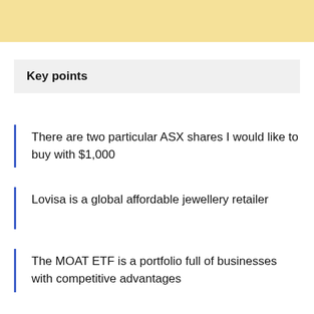Key points
There are two particular ASX shares I would like to buy with $1,000
Lovisa is a global affordable jewellery retailer
The MOAT ETF is a portfolio full of businesses with competitive advantages